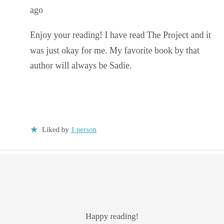ago
Enjoy your reading! I have read The Project and it was just okay for me. My favorite book by that author will always be Sadie.
★ Liked by 1 person
Privacy & Cookies: This site uses cookies. By continuing to use this website, you agree to their use.
To find out more, including how to control cookies, see here: Cookie Policy
Close and accept
Happy reading!